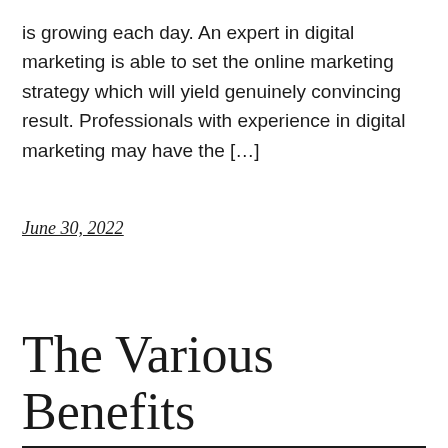is growing each day. An expert in digital marketing is able to set the online marketing strategy which will yield genuinely convincing result. Professionals with experience in digital marketing may have the […]
June 30, 2022
The Various Benefits